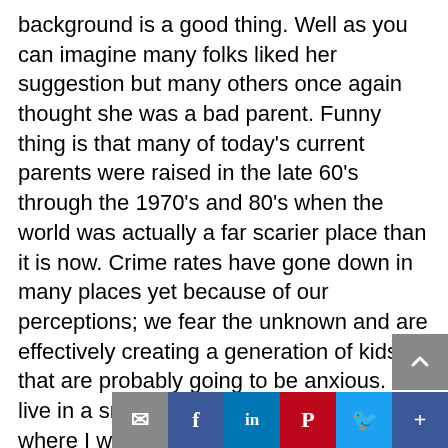background is a good thing. Well as you can imagine many folks liked her suggestion but many others once again thought she was a bad parent. Funny thing is that many of today's current parents were raised in the late 60's through the 1970's and 80's when the world was actually a far scarier place than it is now. Crime rates have gone down in many places yet because of our perceptions; we fear the unknown and are effectively creating a generation of kids that are probably going to be anxious. I live in a smallish town (compared to where I was raised) yet I am surprised at how many kids do not walk to school. Hell the parents don't even walk em when they live in walking distance. (walking builds community folks!) I recently registered the girl child for